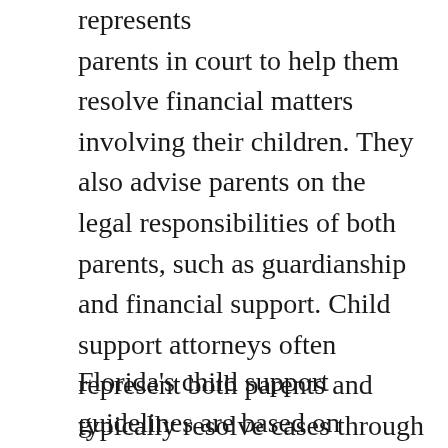represents parents in court to help them resolve financial matters involving their children. They also advise parents on the legal responsibilities of both parents, such as guardianship and financial support. Child support attorneys often represent both parents and typically resolve cases through mediation, arbitration, or family court. They can also represent the children in cases where the parents cannot reach an agreement. For more information about child support attorneys, check out www.westpalmbeachdivorceattorneys.net/child-support/.
Florida's child support guidelines are based on the combined incomes of both parents. They